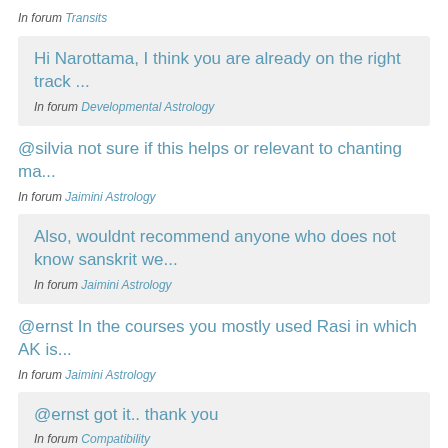In forum Transits
Hi Narottama, I think you are already on the right track ...
In forum Developmental Astrology
@silvia not sure if this helps or relevant to chanting ma...
In forum Jaimini Astrology
Also, wouldnt recommend anyone who does not know sanskrit we...
In forum Jaimini Astrology
@ernst In the courses you mostly used Rasi in which AK is...
In forum Jaimini Astrology
@ernst got it.. thank you
In forum Compatibility
are you asking if the reference is AK to Ve or...